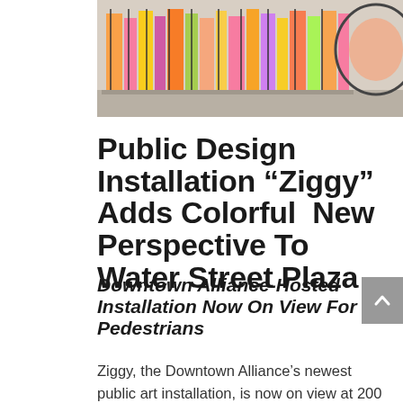[Figure (photo): Outdoor public art installation showing colorful vertical panels or mesh structures with vivid colors (pink, yellow, orange, green) arranged in a plaza setting, photographed from ground level.]
Public Design Installation “Ziggy” Adds Colorful New Perspective To Water Street Plaza
Downtown Alliance-Hosted Installation Now On View For Pedestrians
Ziggy, the Downtown Alliance’s newest public art installation, is now on view at 200 Water Street, where